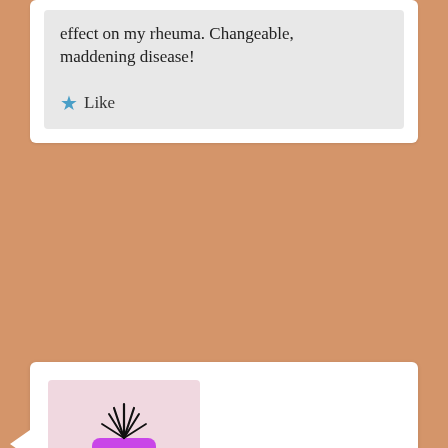effect on my rheuma. Changeable, maddening disease!
★ Like
[Figure (illustration): Cartoon avatar of a purple square character with stick arms and legs, white eyes, spiky black hair on top, and a small smile. Background is light pink.]
Squirrel on April 23, 2012 at 10:35 am said:
I'm so sorry you're finding yourself so overwhelmed at the moment, Wren. You've given me such kind words of inspiration before and I'm not sure what I can offer back. I understand about the fear, it's always in the back of my mind and it comes to the foreground when I have an increase in symptoms too. However you're totally right